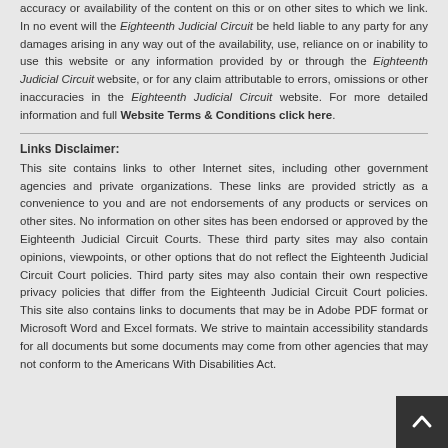accuracy or availability of the content on this or on other sites to which we link. In no event will the Eighteenth Judicial Circuit be held liable to any party for any damages arising in any way out of the availability, use, reliance on or inability to use this website or any information provided by or through the Eighteenth Judicial Circuit website, or for any claim attributable to errors, omissions or other inaccuracies in the Eighteenth Judicial Circuit website. For more detailed information and full Website Terms & Conditions click here.
Links Disclaimer: This site contains links to other Internet sites, including other government agencies and private organizations. These links are provided strictly as a convenience to you and are not endorsements of any products or services on other sites. No information on other sites has been endorsed or approved by the Eighteenth Judicial Circuit Courts. These third party sites may also contain opinions, viewpoints, or other options that do not reflect the Eighteenth Judicial Circuit Court policies. Third party sites may also contain their own respective privacy policies that differ from the Eighteenth Judicial Circuit Court policies. This site also contains links to documents that may be in Adobe PDF format or Microsoft Word and Excel formats. We strive to maintain accessibility standards for all documents but some documents may come from other agencies that may not conform to the Americans With Disabilities Act.